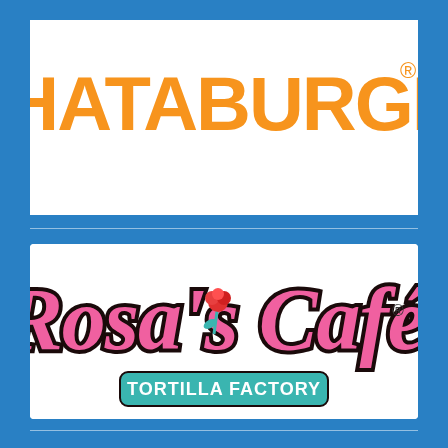[Figure (logo): Whataburger logo — orange bold text on white background]
[Figure (logo): Rosa's Cafe Tortilla Factory logo — pink cursive text with rose illustration and teal 'TORTILLA FACTORY' lettering on white background]